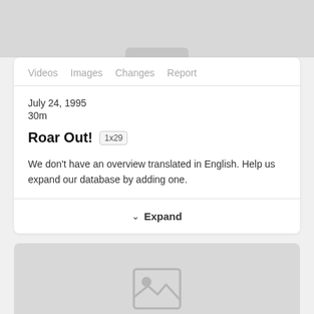[Figure (photo): Gray placeholder image strip at top with rounded tab]
Videos  Images  Changes  Report
July 24, 1995
30m
Roar Out!  1x29
We don't have an overview translated in English. Help us expand our database by adding one.
Expand
[Figure (photo): Gray placeholder image card at bottom with image placeholder icon]